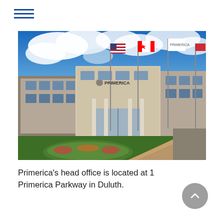[Figure (photo): Exterior photo of Primerica's head office building at 1 Primerica Parkway in Duluth. The multi-story beige/tan building has large glass windows and a prominent 'Primerica' sign. Three flagpoles display the American flag, Canadian flag, and a Puerto Rico/company flag. A circular landscaped island with flowers and green grass is visible in the foreground, along with a curved brick walkway.]
Primerica’s head office is located at 1 Primerica Parkway in Duluth.